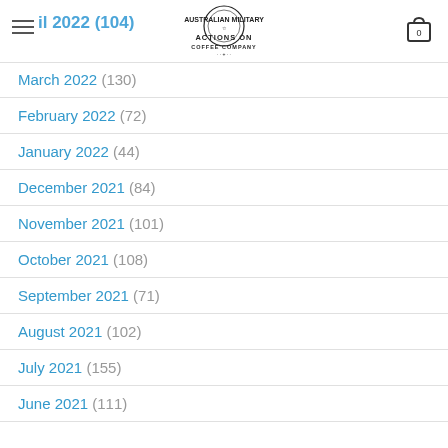Actions On Coffee Company
April 2022 (104)
March 2022 (130)
February 2022 (72)
January 2022 (44)
December 2021 (84)
November 2021 (101)
October 2021 (108)
September 2021 (71)
August 2021 (102)
July 2021 (155)
June 2021 (111)